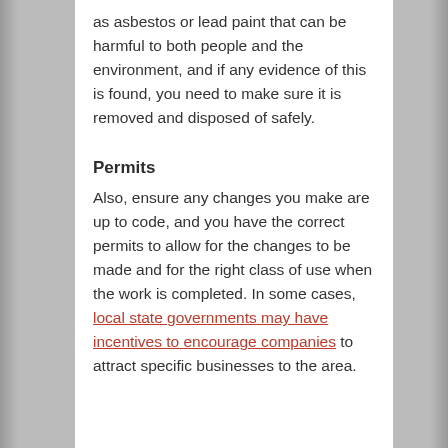as asbestos or lead paint that can be harmful to both people and the environment, and if any evidence of this is found, you need to make sure it is removed and disposed of safely.
Permits
Also, ensure any changes you make are up to code, and you have the correct permits to allow for the changes to be made and for the right class of use when the work is completed. In some cases, local state governments may have incentives to encourage companies to attract specific businesses to the area.